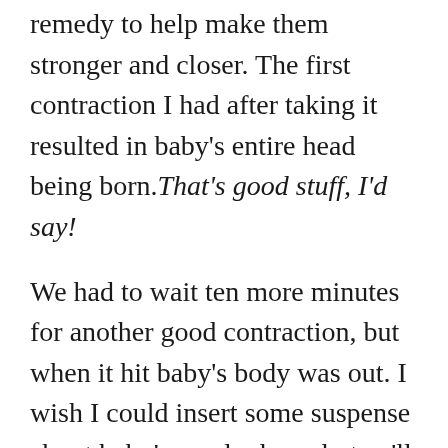apart, so Christy gave me a homeopathic remedy to help make them stronger and closer. The first contraction I had after taking it resulted in baby's entire head being born. That's good stuff, I'd say!
We had to wait ten more minutes for another good contraction, but when it hit baby's body was out. I wish I could insert some suspense about baby's gender here, but ya'll already know we had a boy. For us, though, this was the first moment we knew [x] our "sense" about this pregnancy had been